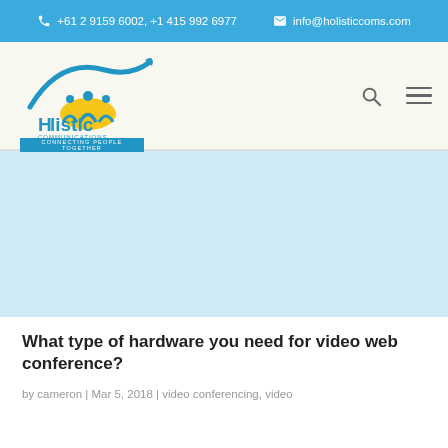+61 2 9159 6002, +1 415 992 6977  info@holisticcoms.com
[Figure (logo): Holistic Communications logo — blue arc with people silhouettes and yellow sun, text 'Holistic COMMUNICATIONS' and 'CONNECTING PEOPLE TOGETHER']
What type of hardware you need for video web conference?
by cameron | Mar 5, 2018 | video conferencing, video